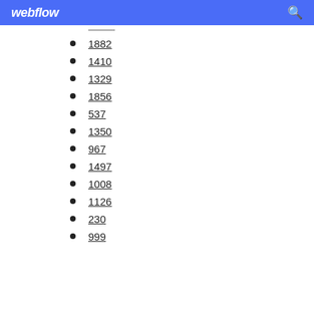webflow
1882
1410
1329
1856
537
1350
967
1497
1008
1126
230
999